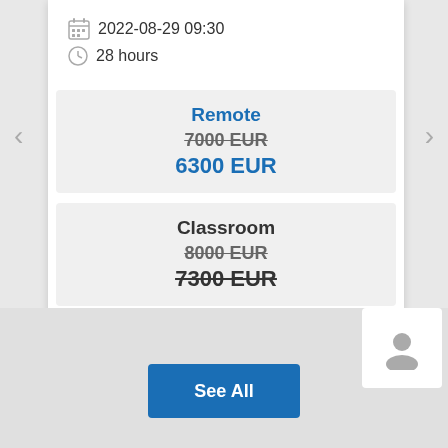2022-08-29 09:30
28 hours
Remote
7000 EUR
6300 EUR
Classroom
8000 EUR
7300 EUR
Read More
See All